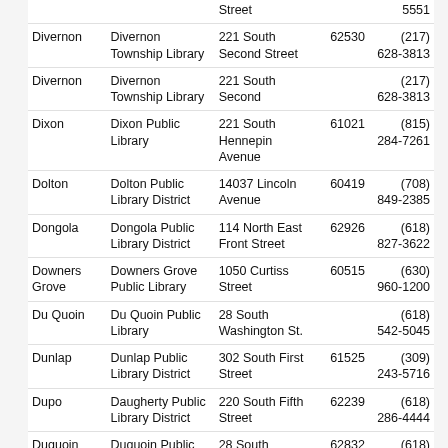| City | Library Name | Address | ZIP | Phone |
| --- | --- | --- | --- | --- |
|  |  | Street |  | 5551 |
| Divernon | Divernon Township Library | 221 South Second Street | 62530 | (217) 628-3813 |
| Divernon | Divernon Township Library | 221 South Second |  | (217) 628-3813 |
| Dixon | Dixon Public Library | 221 South Hennepin Avenue | 61021 | (815) 284-7261 |
| Dolton | Dolton Public Library District | 14037 Lincoln Avenue | 60419 | (708) 849-2385 |
| Dongola | Dongola Public Library District | 114 North East Front Street | 62926 | (618) 827-3622 |
| Downers Grove | Downers Grove Public Library | 1050 Curtiss Street | 60515 | (630) 960-1200 |
| Du Quoin | Du Quoin Public Library | 28 South Washington St. |  | (618) 542-5045 |
| Dunlap | Dunlap Public Library District | 302 South First Street | 61525 | (309) 243-5716 |
| Dupo | Daugherty Public Library District | 220 South Fifth Street | 62239 | (618) 286-4444 |
| Duquoin | Duquoin Public Library | 28 South Washington Street | 62832 | (618) 542-5045 |
|  | Prairie Creek Public Library | 501 Carriage |  | (815) |